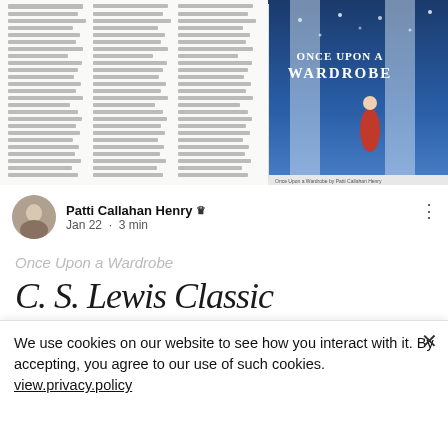[Figure (screenshot): Screenshot of a newspaper-style article review page showing 'Once Upon a Wardrobe' book, with multi-column text and a book cover image featuring a girl in a snowy blue corridor with the title 'Once Upon a Wardrobe']
Patti Callahan Henry · Admin
Jan 22 · 3 min
Once Upon a Wardrobe
C. S. Lewis Classic…
We use cookies on our website to see how you interact with it. By accepting, you agree to our use of such cookies. view.privacy.policy
Settings
Accept